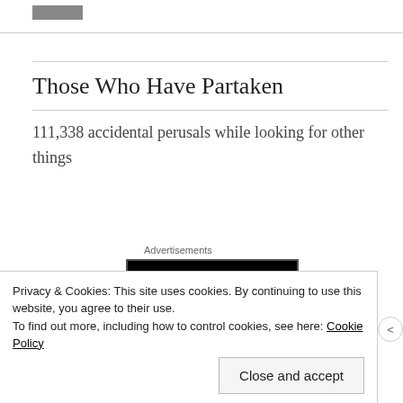Those Who Have Partaken
111,338 accidental perusals while looking for other things
Advertisements
[Figure (logo): Longreads logo on black background: red circle with italic L, then LONGREADS in white bold letters]
Privacy & Cookies: This site uses cookies. By continuing to use this website, you agree to their use.
To find out more, including how to control cookies, see here: Cookie Policy
Close and accept